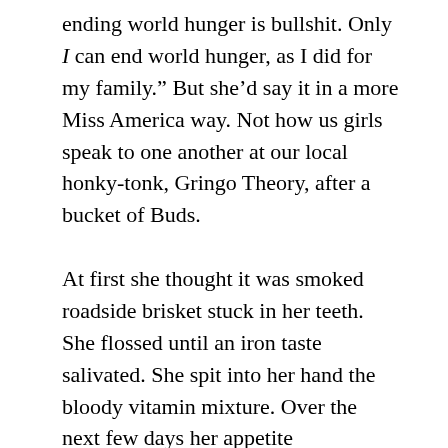ending world hunger is bullshit. Only I can end world hunger, as I did for my family.” But she’d say it in a more Miss America way. Not how us girls speak to one another at our local honky-tonk, Gringo Theory, after a bucket of Buds.
At first she thought it was smoked roadside brisket stuck in her teeth. She flossed until an iron taste salivated. She spit into her hand the bloody vitamin mixture. Over the next few days her appetite disappeared. She felt not only full but more energetic than ever. She